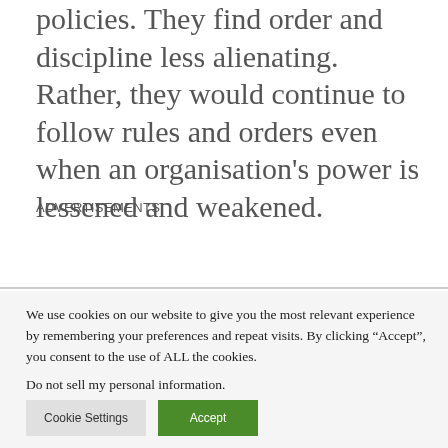policies. They find order and discipline less alienating. Rather, they would continue to follow rules and orders even when an organisation’s power is lessened and weakened.
ADVERTISEMENTS:
We use cookies on our website to give you the most relevant experience by remembering your preferences and repeat visits. By clicking “Accept”, you consent to the use of ALL the cookies. Do not sell my personal information.